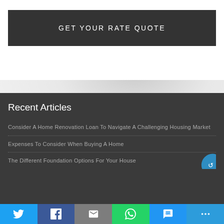GET YOUR RATE QUOTE
Recent Articles
Consider A Home Renovation Loan To Navigate A Challenging Housing Market
Expenses To Consider When Buying A Home
The Different Foundation Options For Your House
[Figure (infographic): Social share bar with Twitter, Facebook, Email, WhatsApp, SMS, and More buttons]